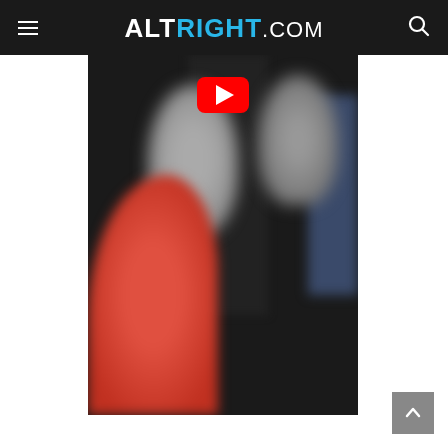ALTRIGHT.COM
[Figure (screenshot): Blurred video thumbnail showing people in a dark room, with a YouTube red play button overlay in the top center. A person in a red/orange top is visible on the left side, and blurred figures on the right.]